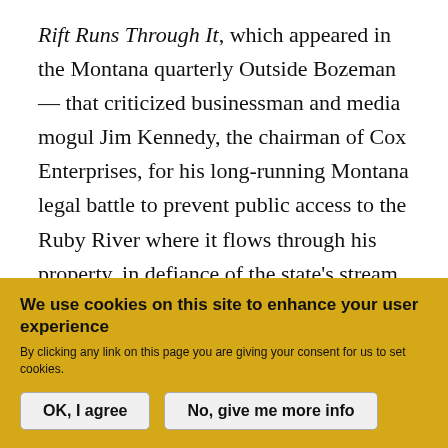Rift Runs Through It, which appeared in the Montana quarterly Outside Bozeman — that criticized businessman and media mogul Jim Kennedy, the chairman of Cox Enterprises, for his long-running Montana legal battle to prevent public access to the Ruby River where it flows through his property, in defiance of the state's stream access law. Kennedy is a major financial supporter of Ducks Unlimited, and Thomas believes that he asked the organization to terminate its affiliation with him. In a statement by
We use cookies on this site to enhance your user experience
By clicking any link on this page you are giving your consent for us to set cookies.
OK, I agree
No, give me more info